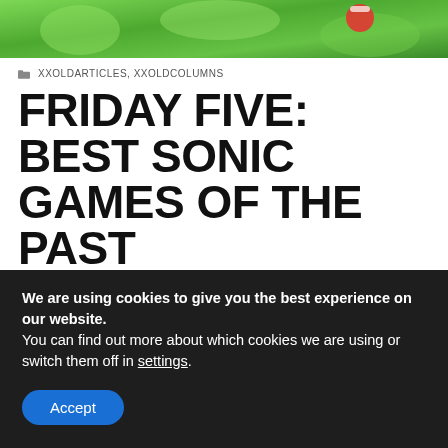[Figure (photo): Hero image showing a colorful green game environment, likely from a Sonic video game]
XXOLDARTICLES, XXOLDCOLUMNS
FRIDAY FIVE: BEST SONIC GAMES OF THE PAST GENERATION
29TH NOVEMBER 2013   JASON BERRY
86 COMMENTS
[Figure (screenshot): Partial screenshot from a Sonic game showing a colorful environment]
We are using cookies to give you the best experience on our website.
You can find out more about which cookies we are using or switch them off in settings.
Accept